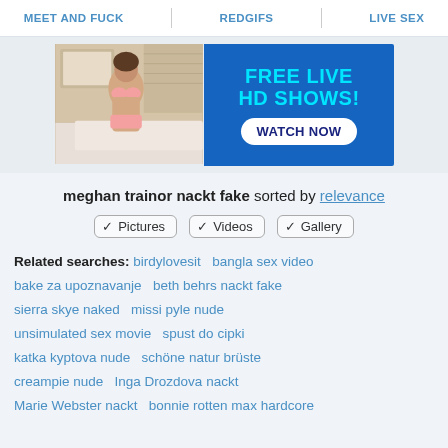MEET AND FUCK | REDGIFS | LIVE SEX
[Figure (photo): Advertisement banner: woman in pink bikini on left, blue background with cyan text 'FREE LIVE HD SHOWS!' and white button 'WATCH NOW' on right]
meghan trainor nackt fake sorted by relevance
✓ Pictures  ✓ Videos  ✓ Gallery
Related searches: birdylovesit  bangla sex video  bake za upoznavanje  beth behrs nackt fake  sierra skye naked  missi pyle nude  unsimulated sex movie  spust do cipki  katka kyptova nude  schöne natur brüste  creampie nude  Inga Drozdova nackt  Marie Webster nackt  bonnie rotten max hardcore